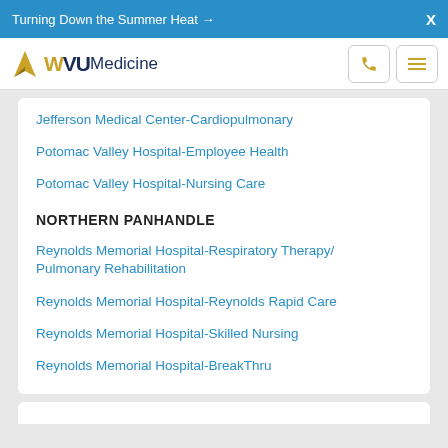Turning Down the Summer Heat →  X
[Figure (logo): WVU Medicine logo with phone and menu icons]
Jefferson Medical Center-Cardiopulmonary
Potomac Valley Hospital-Employee Health
Potomac Valley Hospital-Nursing Care
NORTHERN PANHANDLE
Reynolds Memorial Hospital-Respiratory Therapy/Pulmonary Rehabilitation
Reynolds Memorial Hospital-Reynolds Rapid Care
Reynolds Memorial Hospital-Skilled Nursing
Reynolds Memorial Hospital-BreakThru